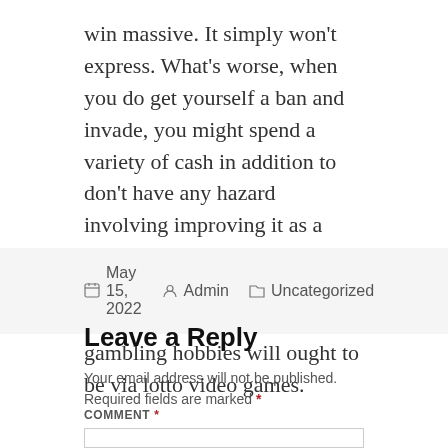win massive. It simply won't express. What's worse, when you do get yourself a ban and invade, you might spend a variety of cash in addition to don't have any hazard involving improving it as a consequence to the reality the casino may not pay you out there. All of your own future gambling hobbies will ought to be via lotto video games.
May 15, 2022  Admin  Uncategorized
Leave a Reply
Your email address will not be published. Required fields are marked *
COMMENT *